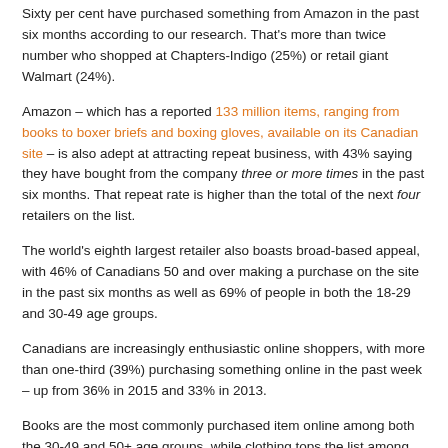Sixty per cent have purchased something from Amazon in the past six months according to our research. That's more than twice number who shopped at Chapters-Indigo (25%) or retail giant Walmart (24%).
Amazon – which has a reported 133 million items, ranging from books to boxer briefs and boxing gloves, available on its Canadian site – is also adept at attracting repeat business, with 43% saying they have bought from the company three or more times in the past six months. That repeat rate is higher than the total of the next four retailers on the list.
The world's eighth largest retailer also boasts broad-based appeal, with 46% of Canadians 50 and over making a purchase on the site in the past six months as well as 69% of people in both the 18-29 and 30-49 age groups.
Canadians are increasingly enthusiastic online shoppers, with more than one-third (39%) purchasing something online in the past week – up from 36% in 2015 and 33% in 2013.
Books are the most commonly purchased item online among both the 30-49 and 50+ age groups, while clothing tops the list among Millennials 18-29. Younger Canadians are also